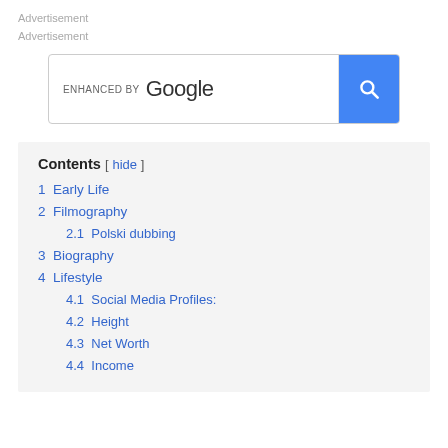Advertisement
Advertisement
[Figure (screenshot): Google enhanced search box with a blue search button containing a magnifying glass icon]
1 Early Life
2 Filmography
2.1 Polski dubbing
3 Biography
4 Lifestyle
4.1 Social Media Profiles:
4.2 Height
4.3 Net Worth
4.4 Income